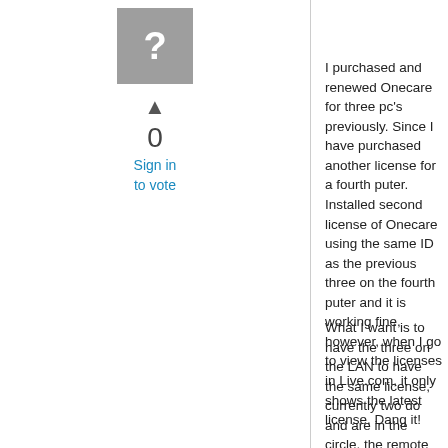[Figure (other): Gray avatar box with a white question mark icon]
▲
0
Sign in to vote
I purchased and renewed Onecare for three pc's previously. Since I have purchased another license for a fourth puter. Installed second license of Onecare using the same ID as the previous three on the fourth puter and it is working fine, however, when I go to view the licenses in Live.com, it only shows the latest license. Dang it!
What I want is to have the three on the LAN to have the same license, currently two do and are in the circle, the remote puter is in the circle but I want it on it's own. Would I be able to